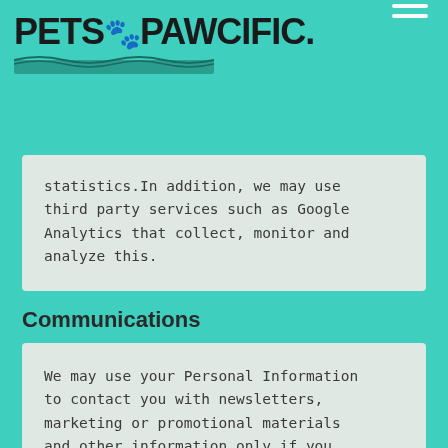PETS PAWCIFIC (logo with navigation hamburger menu)
statistics.In addition, we may use third party services such as Google Analytics that collect, monitor and analyze this.
Communications
We may use your Personal Information to contact you with newsletters, marketing or promotional materials and other information only if you subscribe to our newsletter. You may opt out of receiving our newsletter at anytime.